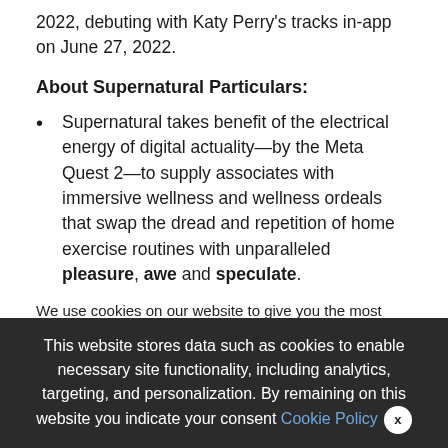2022, debuting with Katy Perry’s tracks in-app on June 27, 2022.
About Supernatural Particulars:
Supernatural takes benefit of the electrical energy of digital actuality—by the Meta Quest 2—to supply associates with immersive wellness and wellness ordeals that swap the dread and repetition of home exercise routines with unparalleled pleasure, awe and speculate.
We use cookies on our website to give you the most relevant experience by remembering your preferences and repeat visits. By clicking “Accept All”, you consent to the use of ALL the cookies. However, you may visit “Cookie Settings” to provide a controlled consent.
This website stores data such as cookies to enable necessary site functionality, including analytics, targeting, and personalization. By remaining on this website you indicate your consent Cookie Policy